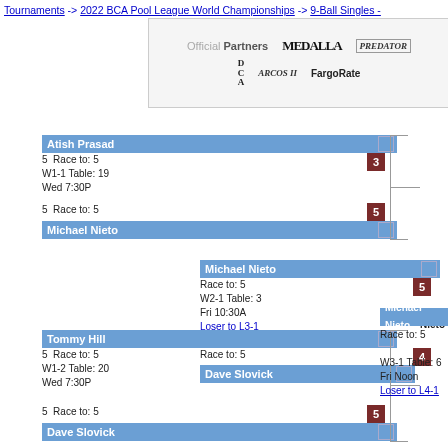Tournaments -> 2022 BCA Pool League World Championships -> 9-Ball Singles -
[Figure (other): Official Partners sponsor logos: Medalla, Predator, DCA, Arcos II, FargoRate]
[Figure (flowchart): Tournament bracket showing: Atish Prasad vs Michael Nieto (W1-1, Table 19, Wed 7:30P, Race to 5, score 3-5), Michael Nieto vs Dave Slovick (W2-1, Table 3, Fri 10:30A, Race to 5, score 5-4, Loser to L3-1), Tommy Hill vs Dave Slovick (W1-2, Table 20, Wed 7:30P, Race to 5, score 0-5), Michael Nieto advances (W3-1, Table 6, Fri Noon, Race to 5, Loser to L4-1)]